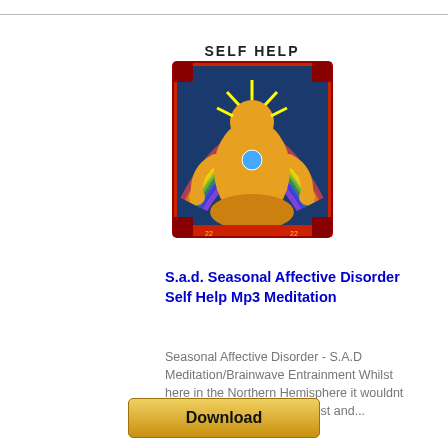[Figure (illustration): Self Help product image with mandala-like spiritual figure, colorful with red border and 'SELF HELP' text at top]
S.a.d. Seasonal Affective Disorder Self Help Mp3 Meditation
Seasonal Affective Disorder - S.A.D Meditation/Brainwave Entrainment Whilst here in the Northern Hemisphere it wouldnt be Christmas without the frost and...
1. MEDITATION MP3 DOWNLOADS DEPRESSION S.A.D HELP ...
Sample
Download